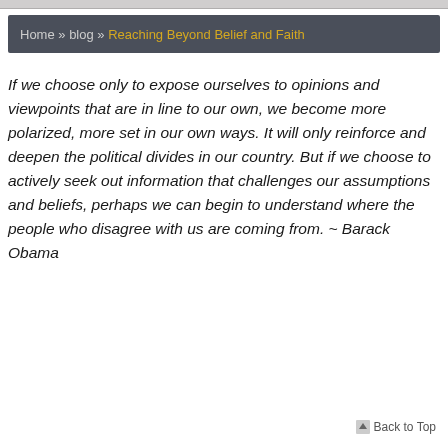Home » blog » Reaching Beyond Belief and Faith
If we choose only to expose ourselves to opinions and viewpoints that are in line to our own, we become more polarized, more set in our own ways. It will only reinforce and deepen the political divides in our country. But if we choose to actively seek out information that challenges our assumptions and beliefs, perhaps we can begin to understand where the people who disagree with us are coming from. ~ Barack Obama
Back to Top